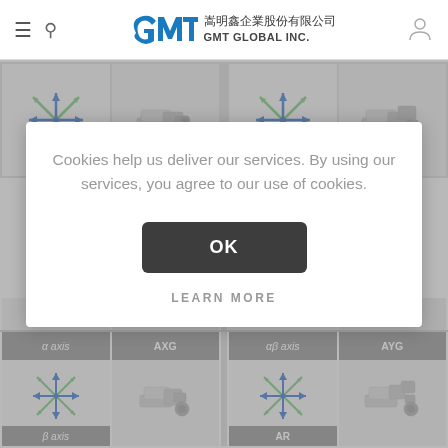GMT GLOBAL INC. 嵩明鑫企業股份有限公司
[Figure (screenshot): GMT Global Inc. website screenshot showing product grid with axis stage product icons and a cookie consent dialog overlay. Products include α axis, AXG, αβ axis, AYG stages shown as icons and 3D renders.]
Cookies help us deliver our services. By using our services, you agree to our use of cookies.
OK
LEARN MORE
α axis
AXG
αβ axis
AYG
β axis
AR